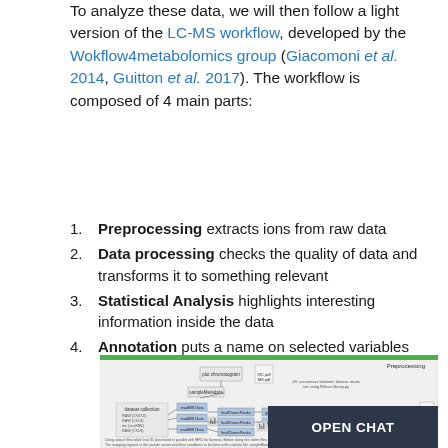To analyze these data, we will then follow a light version of the LC-MS workflow, developed by the Wokflow4metabolomics group (Giacomoni et al. 2014, Guitton et al. 2017). The workflow is composed of 4 main parts:
1. Preprocessing extracts ions from raw data
2. Data processing checks the quality of data and transforms it to something relevant
3. Statistical Analysis highlights interesting information inside the data
4. Annotation puts a name on selected variables
[Figure (flowchart): A workflow diagram showing the LC-MS preprocessing pipeline with nodes and arrows, labeled 'Preprocessing' in the top right corner. Partial view showing data collection, processing steps, filtering, and output nodes.]